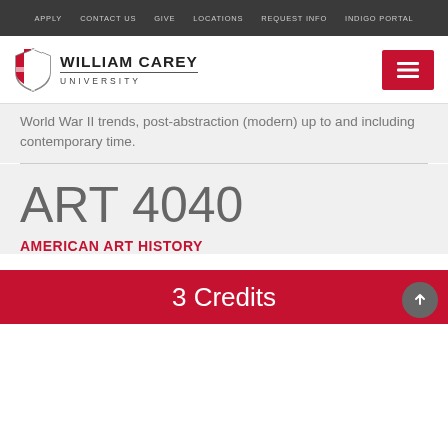APPLY  CONTACT US  GIVE  LOCATIONS  REQUEST INFO  INDIGO PORTAL
[Figure (logo): William Carey University shield logo and wordmark with hamburger menu button]
World War II trends, post-abstraction (modern) up to and including contemporary time.
ART 4040
AMERICAN ART HISTORY
3 Credits